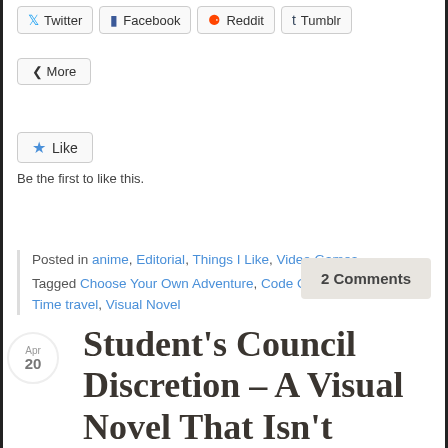[Figure (screenshot): Social share buttons row: Twitter, Facebook, Reddit, Tumblr]
[Figure (screenshot): More share button]
[Figure (screenshot): Like button with star icon]
Be the first to like this.
Posted in anime, Editorial, Things I Like, Video Games
Tagged Choose Your Own Adventure, Code Geass, Steins;Gate, Time travel, Visual Novel
2 Comments
Student's Council Discretion – A Visual Novel That Isn't